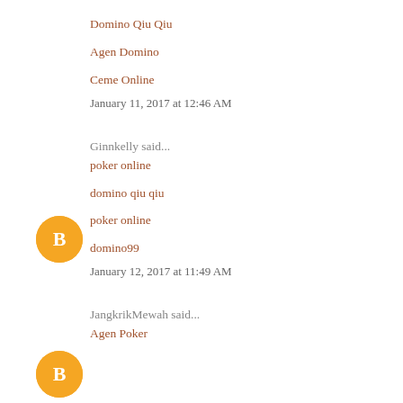Domino Qiu Qiu
Agen Domino
Ceme Online
January 11, 2017 at 12:46 AM
Ginnkelly said...
poker online
domino qiu qiu
poker online
domino99
January 12, 2017 at 11:49 AM
JangkrikMewah said...
Agen Poker